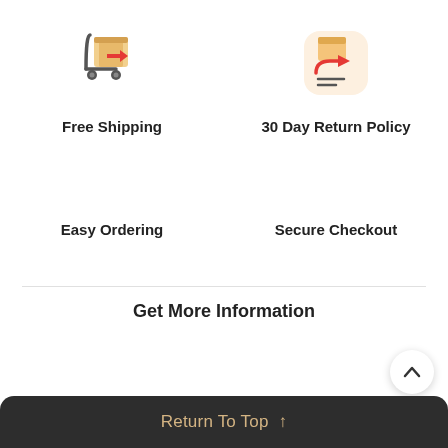[Figure (illustration): Shopping cart / delivery trolley with a box and red arrow icon]
Free Shipping
[Figure (illustration): Return policy icon: box with red return arrow on beige rounded square background]
30 Day Return Policy
Easy Ordering
Secure Checkout
Get More Information
Return To Top ↑